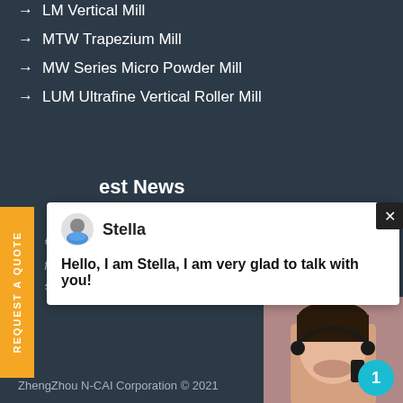→ LM Vertical Mill
→ MTW Trapezium Mill
→ MW Series Micro Powder Mill
→ LUM Ultrafine Vertical Roller Mill
est News
Stella
Hello, I am Stella, I am very glad to talk with you!
used german jaw crusher
phosphate rock mobile limestone cru
stone crusher plant cost ethiopia
Have any requests, click here.
Quotation
ZhengZhou N-CAI Corporation © 2021